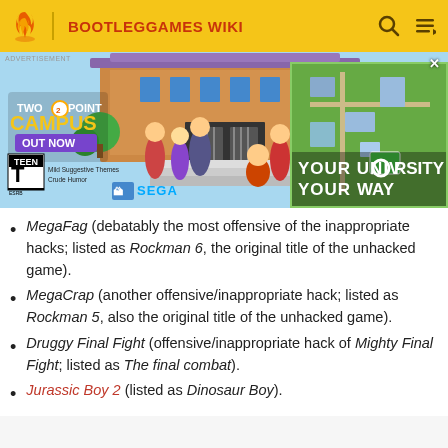BOOTLEGGAMES WIKI
[Figure (photo): Advertisement banner for Two Point Campus game by SEGA. Shows game characters in front of a university building. Text reads 'TWO POINT CAMPUS', 'OUT NOW', 'TEEN - Mild Suggestive Themes, Crude Humor', 'YOUR UNIVERSITY YOUR WAY'.]
MegaFag (debatably the most offensive of the inappropriate hacks; listed as Rockman 6, the original title of the unhacked game).
MegaCrap (another offensive/inappropriate hack; listed as Rockman 5, also the original title of the unhacked game).
Druggy Final Fight (offensive/inappropriate hack of Mighty Final Fight; listed as The final combat).
Jurassic Boy 2 (listed as Dinosaur Boy).